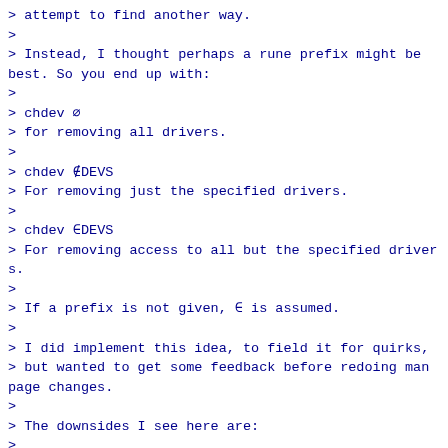> attempt to find another way.
>
> Instead, I thought perhaps a rune prefix might be best. So you end up with:
>
> chdev ∅
> for removing all drivers.
>
> chdev ∉DEVS
> For removing just the specified drivers.
>
> chdev ∈DEVS
> For removing access to all but the specified drivers.
>
> If a prefix is not given, ∈ is assumed.
>
> I did implement this idea, to field it for quirks,
> but wanted to get some feedback before redoing man page changes.
>
> The downsides I see here are:
>
> 1. Deviation from chmod
> 2. This steals three runes that could have otherwise been used for drivers
> 3. ∉ is a bit more involved to type then '-'
>
> With that said, I do much prefer this interface. Another option may be
>